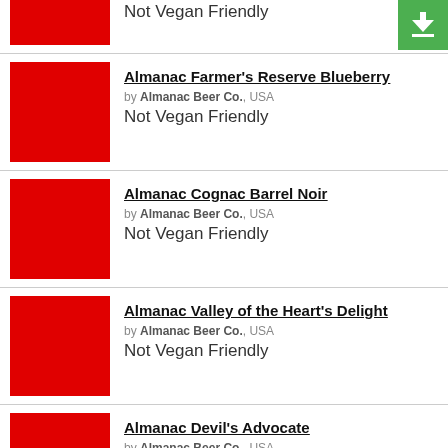Not Vegan Friendly
Almanac Farmer's Reserve Blueberry by Almanac Beer Co., USA Not Vegan Friendly
Almanac Cognac Barrel Noir by Almanac Beer Co., USA Not Vegan Friendly
Almanac Valley of the Heart's Delight by Almanac Beer Co., USA Not Vegan Friendly
Almanac Devil's Advocate by Almanac Beer Co., USA Not Vegan Friendly
Almanac Tequila Barrel Noir by Almanac Beer Co., USA Not Vegan Friendly
Almanac Heirloom Pumpkin by Almanac Beer Co., USA Not Vegan Friendly